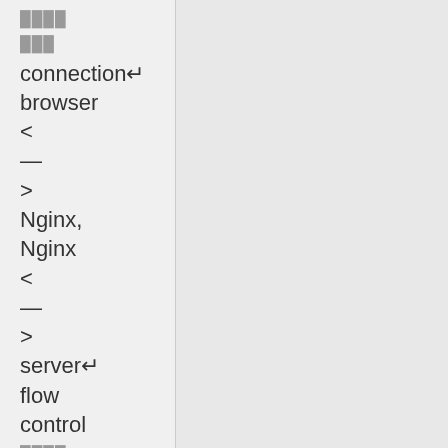████
███
connection↵
browser
<
—
>
Nginx,
Nginx
<
—
>
server↵
flow
control
████